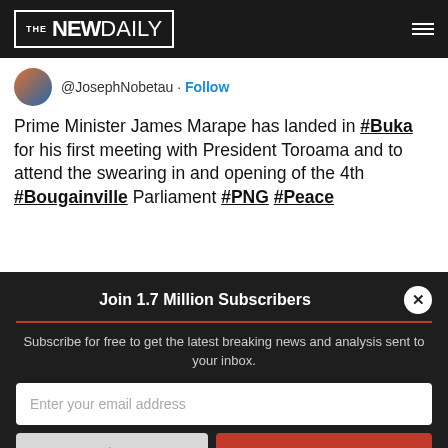THE NEWDAILY
@JosephNobetau · Follow
Prime Minister James Marape has landed in #Buka for his first meeting with President Toroama and to attend the swearing in and opening of the 4th #Bougainville Parliament #PNG #Peace
Join 1.7 Million Subscribers
Subscribe for free to get the latest breaking news and analysis sent to your inbox.
Enter your email address
Your postcode
Subscribe